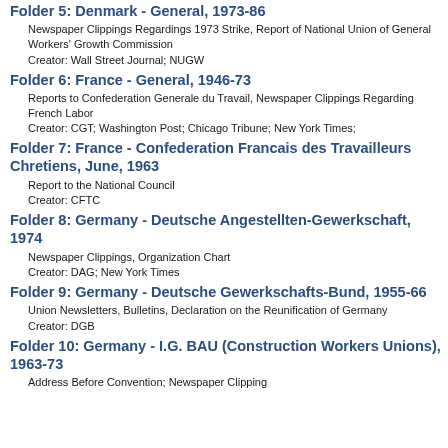Folder 5: Denmark - General, 1973-86
Newspaper Clippings Regardings 1973 Strike, Report of National Union of General Workers’ Growth Commission
Creator: Wall Street Journal; NUGW
Folder 6: France - General, 1946-73
Reports to Confederation Generale du Travail, Newspaper Clippings Regarding French Labor
Creator: CGT; Washington Post; Chicago Tribune; New York Times;
Folder 7: France - Confederation Francais des Travailleurs Chretiens, June, 1963
Report to the National Council
Creator: CFTC
Folder 8: Germany - Deutsche Angestellten-Gewerkschaft, 1974
Newspaper Clippings, Organization Chart
Creator: DAG; New York Times
Folder 9: Germany - Deutsche Gewerkschafts-Bund, 1955-66
Union Newsletters, Bulletins, Declaration on the Reunification of Germany
Creator: DGB
Folder 10: Germany - I.G. BAU (Construction Workers Unions), 1963-73
Address Before Convention; Newspaper Clipping